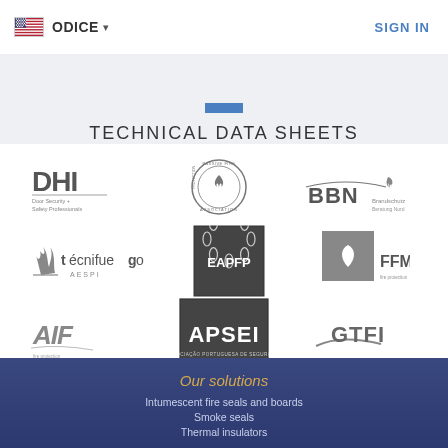ODICE  SIGN IN
TECHNICAL DATA SHEETS
[Figure (logo): DHI - Door Security + Safety Professionals logo (grayscale)]
[Figure (logo): Passive Fire Protection Association circular logo (grayscale)]
[Figure (logo): BBN Brandschutz logo (grayscale)]
[Figure (logo): Tecnifuego AESPI logo (grayscale)]
[Figure (logo): EAPFP logo in square frame (grayscale)]
[Figure (logo): FFMI logo (grayscale)]
[Figure (logo): AIF fire protection logo (grayscale)]
[Figure (logo): APSEI - Associação Portuguesa de Segurança logo in square frame (grayscale)]
[Figure (logo): GTFI logo (grayscale)]
Our solutions
Intumescent fire seals and boards
Smoke seals
Thermal insulators